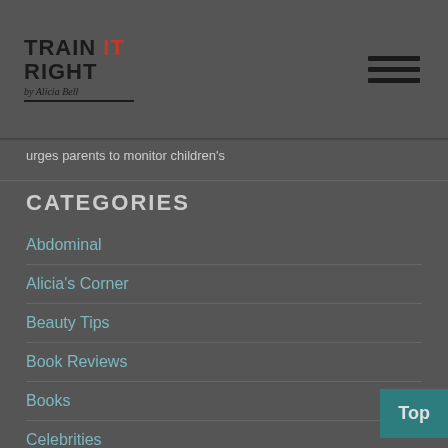Train It Right by Alicia Bell
urges parents to monitor children's
CATEGORIES
Abdominal
Alicia's Corner
Beauty Tips
Book Reviews
Books
Celebrities